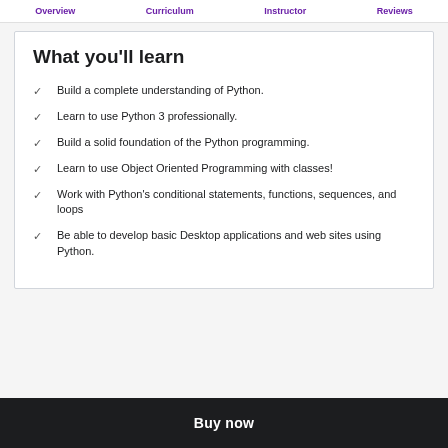Overview  Curriculum  Instructor  Reviews
What you'll learn
Build a complete understanding of Python.
Learn to use Python 3 professionally.
Build a solid foundation of the Python programming.
Learn to use Object Oriented Programming with classes!
Work with Python's conditional statements, functions, sequences, and loops
Be able to develop basic Desktop applications and web sites using Python.
Buy now